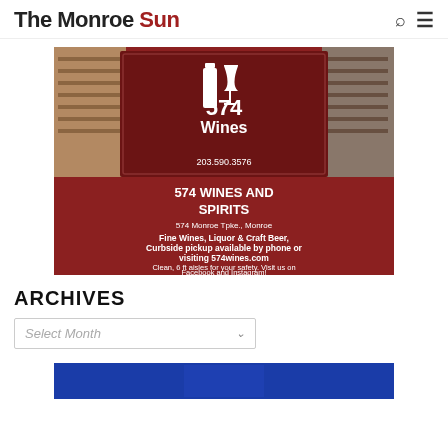The Monroe Sun
[Figure (illustration): Advertisement for 574 Wines and Spirits. Dark red background with store photo. Shows '574 Wines' logo with wine bottle and glass icons, phone number 203.590.3576, '574 WINES AND SPIRITS', address '574 Monroe Tpke., Monroe', taglines: 'Fine Wines, Liquor & Craft Beer, Curbside pickup available by phone or visiting 574wines.com', 'Clean, 6 ft aisles for your safety. Visit us on Facebook and Instagram!']
ARCHIVES
Select Month
[Figure (photo): Partial image with blue background, appears to be bottom of page, cropped.]